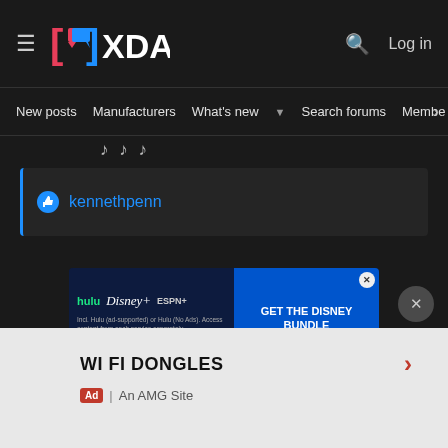XDA — hamburger menu, XDA logo, search icon, Log in
New posts  Manufacturers  What's new  Search forums  Membe  >
kennethpenn
[Figure (screenshot): Disney Bundle advertisement banner with Hulu, Disney+, ESPN+ logos and blue CTA button reading GET THE DISNEY BUNDLE. Fine print: Incl. Hulu (ad-supported) or Hulu (No Ads). Access content from each service separately. ©2021 Disney and its related entities]
WI FI DONGLES
Ad | An AMG Site